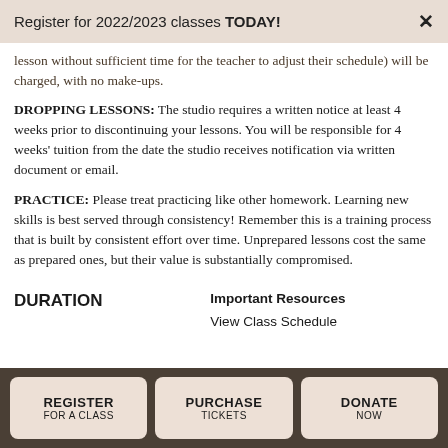Register for 2022/2023 classes TODAY!  ×
lesson without sufficient time for the teacher to adjust their schedule) will be charged, with no make-ups.
DROPPING LESSONS: The studio requires a written notice at least 4 weeks prior to discontinuing your lessons. You will be responsible for 4 weeks' tuition from the date the studio receives notification via written document or email.
PRACTICE: Please treat practicing like other homework. Learning new skills is best served through consistency! Remember this is a training process that is built by consistent effort over time. Unprepared lessons cost the same as prepared ones, but their value is substantially compromised.
DURATION
Important Resources
View Class Schedule
REGISTER FOR A CLASS  |  PURCHASE TICKETS  |  DONATE NOW